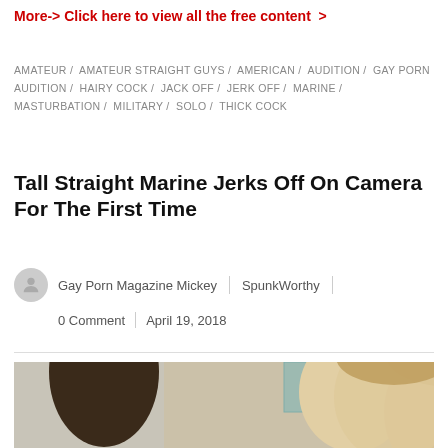More-> Click here to view all the free content  >
AMATEUR / AMATEUR STRAIGHT GUYS / AMERICAN / AUDITION / GAY PORN AUDITION / HAIRY COCK / JACK OFF / JERK OFF / MARINE / MASTURBATION / MILITARY / SOLO / THICK COCK
Tall Straight Marine Jerks Off On Camera For The First Time
Gay Porn Magazine Mickey | SpunkWorthy
0 Comment | April 19, 2018
[Figure (photo): Photo of a young man with short blond hair, partially visible, with another person with dark hair to the left, indoor setting with teal/blue artwork in background]